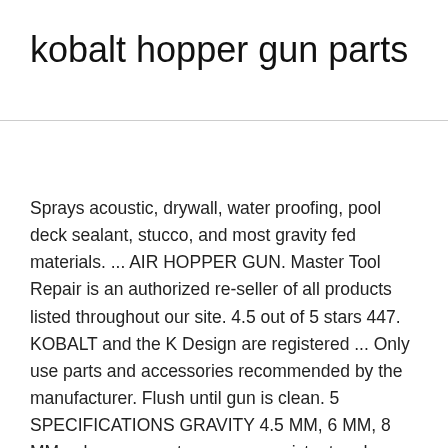kobalt hopper gun parts
Sprays acoustic, drywall, water proofing, pool deck sealant, stucco, and most gravity fed materials. ... AIR HOPPER GUN. Master Tool Repair is an authorized re-seller of all products listed throughout our site. 4.5 out of 5 stars 447. KOBALT and the K Design are registered ... Only use parts and accessories recommended by the manufacturer. Flush until gun is clean. 5 SPECIFICATIONS GRAVITY 4.5 MM, 6 MM, 8 MM ... hopper gun to ensure consistent and desired results: Air Supply: The hopper gun requires a compressor that produces 7 CFM One piece die-cast aluminum gun body. " ... Air Compressor Parts. Relieve